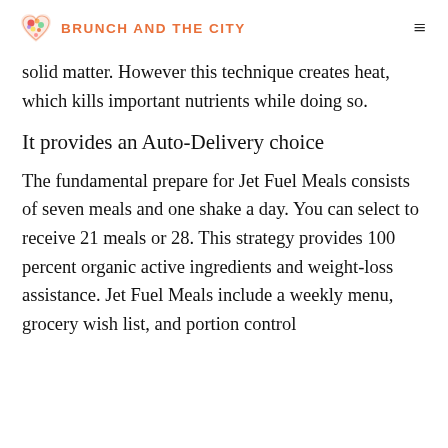BRUNCH AND THE CITY
solid matter. However this technique creates heat, which kills important nutrients while doing so.
It provides an Auto-Delivery choice
The fundamental prepare for Jet Fuel Meals consists of seven meals and one shake a day. You can select to receive 21 meals or 28. This strategy provides 100 percent organic active ingredients and weight-loss assistance. Jet Fuel Meals include a weekly menu, grocery wish list, and portion control